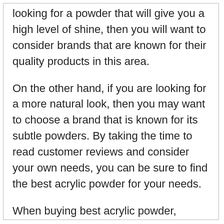looking for a powder that will give you a high level of shine, then you will want to consider brands that are known for their quality products in this area.
On the other hand, if you are looking for a more natural look, then you may want to choose a brand that is known for its subtle powders. By taking the time to read customer reviews and consider your own needs, you can be sure to find the best acrylic powder for your needs.
When buying best acrylic powder, always compare the prices in different shops and marketplaces. This will help you get the best deal on the powder. Additionally, factor in